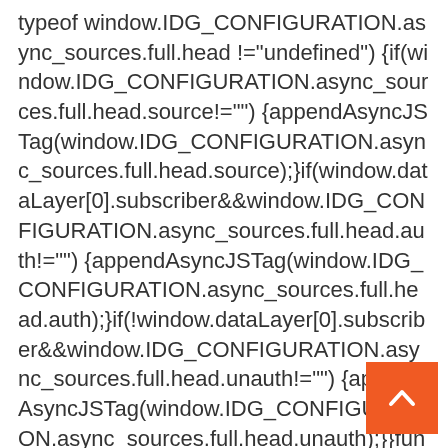typeof window.IDG_CONFIGURATION.async_sources.full.head !=="undefined") {if(window.IDG_CONFIGURATION.async_sources.full.head.source!="") {appendAsyncJSTag(window.IDG_CONFIGURATION.async_sources.full.head.source);}if(window.dataLayer[0].subscriber&&window.IDG_CONFIGURATION.async_sources.full.head.auth!="") {appendAsyncJSTag(window.IDG_CONFIGURATION.async_sources.full.head.auth);}if(!window.dataLayer[0].subscriber&&window.IDG_CONFIGURATION.async_sources.full.head.unauth!="") {appendAsyncJSTag(window.IDG_CONFIGURATION.async_sources.full.head.unauth);}}function insertHeadLightScript(){if(typeof window.IDG_CONFIGURATION.auth!=="undefined"&&wi
[Figure (other): Orange back-to-top button with white upward chevron arrow]